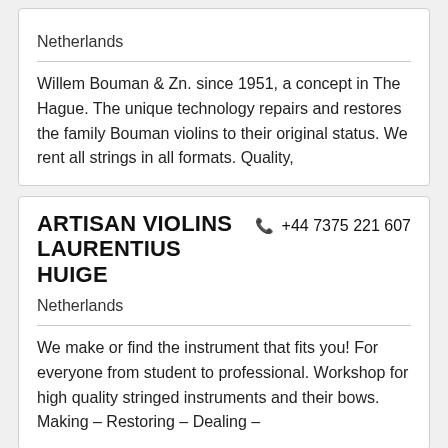Netherlands
Willem Bouman & Zn. since 1951, a concept in The Hague. The unique technology repairs and restores the family Bouman violins to their original status. We rent all strings in all formats. Quality,
ARTISAN VIOLINS LAURENTIUS HUIGE
+44 7375 221 607
Netherlands
We make or find the instrument that fits you! For everyone from student to professional. Workshop for high quality stringed instruments and their bows. Making – Restoring – Dealing –
[Figure (photo): Photo of a luthier's hands working on a stringed instrument in a workshop]